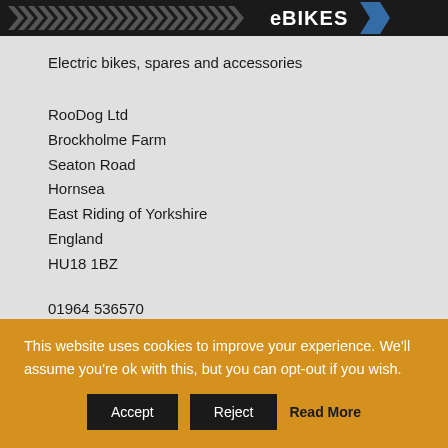[Figure (logo): eBIKES logo with chevron arrows on dark background bar]
Electric bikes, spares and accessories
RooDog Ltd
Brockholme Farm
Seaton Road
Hornsea
East Riding of Yorkshire
England
HU18 1BZ
01964 536570
This website uses cookies to improve your experience. We'll assume you're ok with this, but you can opt-out if you wish.
Accept   Reject   Read More